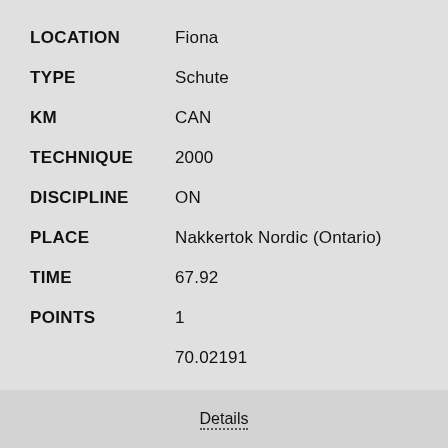LOCATION: Fiona
TYPE: Schute
KM: CAN
TECHNIQUE: 2000
DISCIPLINE: ON
PLACE: Nakkertok Nordic (Ontario)
TIME: 67.92
POINTS: 1
70.02191
Details